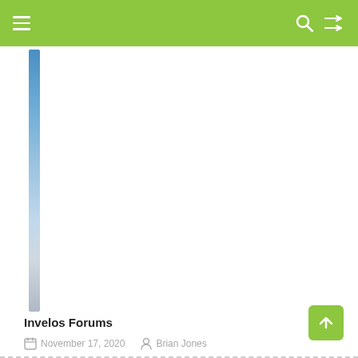[Figure (other): Vertical blue-gray gradient sidebar strip on left side of content area]
Invelos Forums
November 17, 2020   Brian Jones